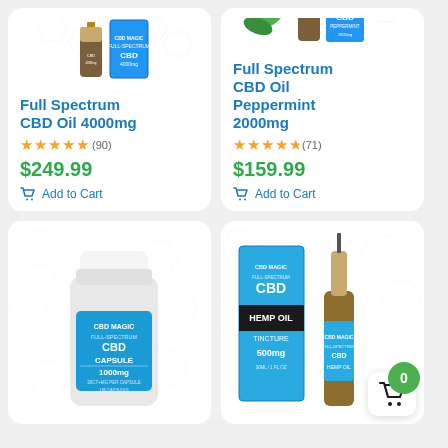[Figure (photo): Product card top-left: Full Spectrum CBD Oil 4000mg box and bottle on hexagon background]
Full Spectrum CBD Oil 4000mg
★★★★★ (90)
$249.99
Add to Cart
[Figure (photo): Product card top-right: Full Spectrum CBD Oil Peppermint 2000mg box and bottle with mint leaves]
Full Spectrum CBD Oil Peppermint 2000mg
★★★★½ (71)
$159.99
Add to Cart
[Figure (photo): Product card bottom-left: CBD Magic Full Spectrum CBD Capsule 1000mg bottle on hexagon background]
[Figure (photo): Product card bottom-right: CBD Magic Full Spectrum CBD Hemp Oil Tincture 500mg box and dropper bottle with green cart badge showing 0]